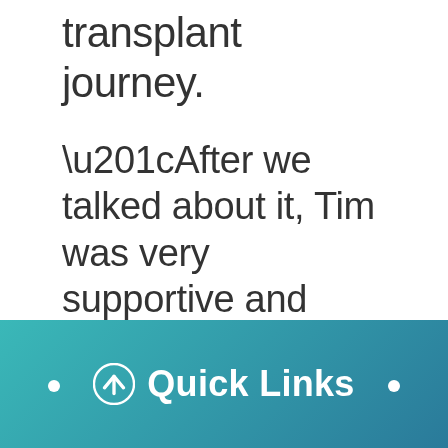transplant journey.
“After we talked about it, Tim was very supportive and wanted the best for Clayton,” said Patti.
With certain COVID-19 protocols and restrictions in place regarding newborns
[Figure (infographic): Teal/blue gradient bottom bar with Quick Links button with up-arrow icon and two white dots on either side]